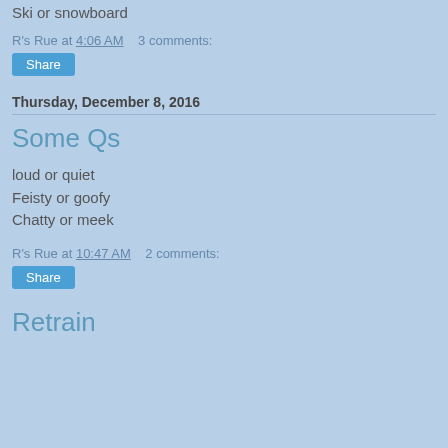Ski or snowboard
R's Rue at 4:06 AM    3 comments:
Share
Thursday, December 8, 2016
Some Qs
loud or quiet
Feisty or goofy
Chatty or meek
R's Rue at 10:47 AM    2 comments:
Share
Retrain